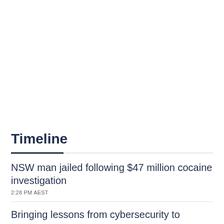Timeline
NSW man jailed following $47 million cocaine investigation
2:28 PM AEST
Bringing lessons from cybersecurity to